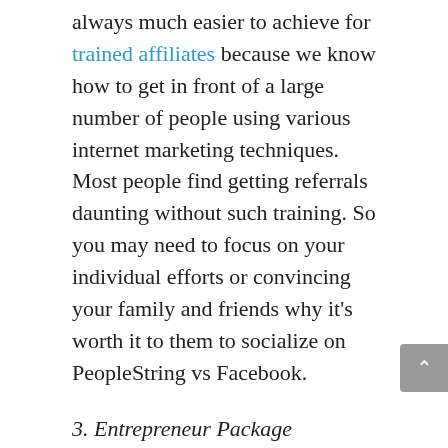always much easier to achieve for trained affiliates because we know how to get in front of a large number of people using various internet marketing techniques. Most people find getting referrals daunting without such training. So you may need to focus on your individual efforts or convincing your family and friends why it's worth it to them to socialize on PeopleString vs Facebook.
3. Entrepreneur Package
As I mentioned earlier they have an upgrade membership that gives you a greater share of the advertiser dollar earned at PeopleString. Like it or not, most programs will have some kind of up-sell offered. It is how they make